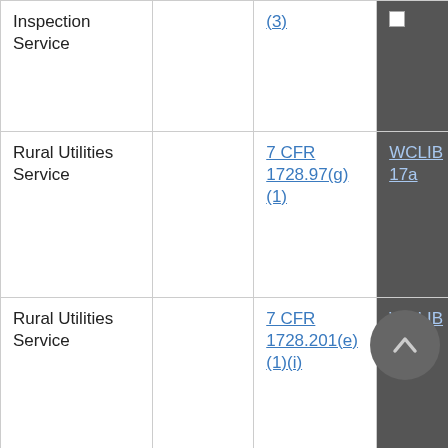| Inspection Service |  | (3) |  |
| Rural Utilities Service |  | 7 CFR 1728.97(g)(1) | WCLIB 17a |
| Rural Utilities Service |  | 7 CFR 1728.201(e)(1)(i) | WCLIB 17a |
| Environmental Protection Agency |  | 40 CFR 60.17(r)(1) | WCLIB 15a |
|  |  |  |  |